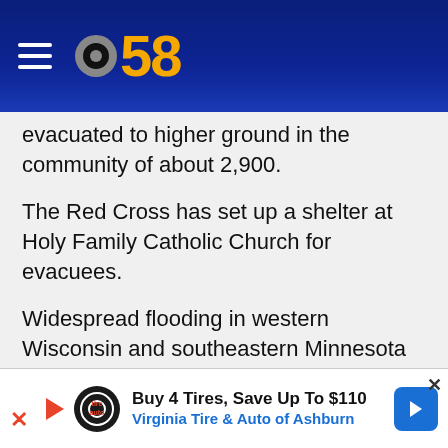CBS 58
evacuated to higher ground in the community of about 2,900.
The Red Cross has set up a shelter at Holy Family Catholic Church for evacuees.
Widespread flooding in western Wisconsin and southeastern Minnesota has closed roads and triggered mudslides.
The National Weather Service issued a flash flood warning for Winona and Houston counties in Minnesota and parts of Crawford, Vernon, Richland and Iuneau counties in Wisconsin. Forecasters say 4 to
[Figure (other): Advertisement banner: Buy 4 Tires, Save Up To $110 — Virginia Tire & Auto of Ashburn]